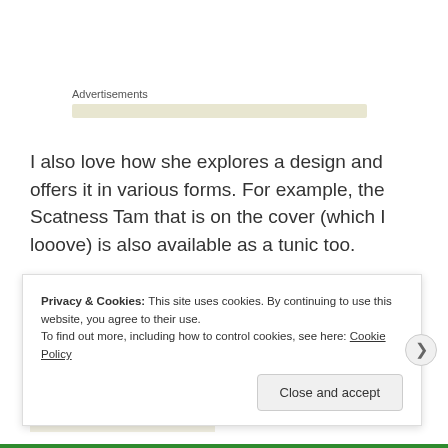Advertisements
I also love how she explores a design and offers it in various forms. For example, the Scatness Tam that is on the cover (which I looove) is also available as a tunic too.
[Figure (photo): Partial view of a cream/white knitted hat with gold/orange text letters visible, appearing to be part of a book cover or product image.]
Privacy & Cookies: This site uses cookies. By continuing to use this website, you agree to their use.
To find out more, including how to control cookies, see here: Cookie Policy
Close and accept